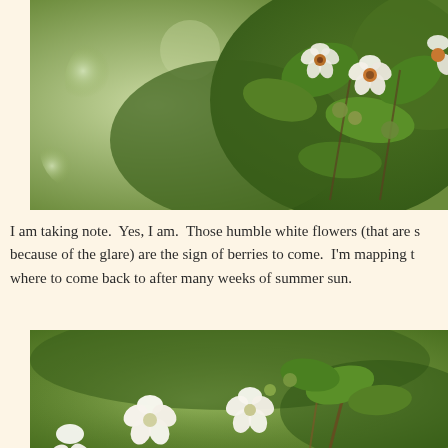[Figure (photo): Close-up photograph of blackberry bush white flowers and developing berries on green leafy branches, blurred green background]
I am taking note.  Yes, I am.  Those humble white flowers (that are s because of the glare) are the sign of berries to come.  I'm mapping t where to come back to after many weeks of summer sun.
[Figure (photo): Close-up photograph of white blackberry flowers in bloom on green leafy branches with blurred green background]